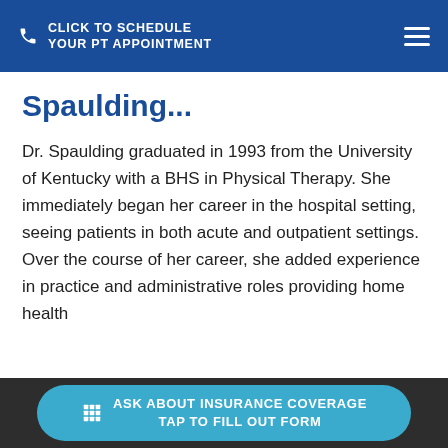CLICK TO SCHEDULE YOUR PT APPOINTMENT
Spaulding...
Dr. Spaulding graduated in 1993 from the University of Kentucky with a BHS in Physical Therapy. She immediately began her career in the hospital setting, seeing patients in both acute and outpatient settings. Over the course of her career, she added experience in practice and administrative roles providing home health
ASK ABOUT INSURANCE COVERAGE TAP TO FILL OUT FORM